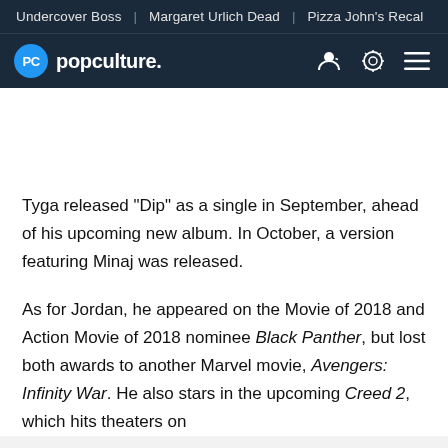Undercover Boss | Margaret Urlich Dead | Pizza John's Recal
[Figure (logo): popculture. logo with blue circle PC icon and navigation icons]
Tyga released "Dip" as a single in September, ahead of his upcoming new album. In October, a version featuring Minaj was released.
As for Jordan, he appeared on the Movie of 2018 and Action Movie of 2018 nominee Black Panther, but lost both awards to another Marvel movie, Avengers: Infinity War. He also stars in the upcoming Creed 2, which hits theaters on